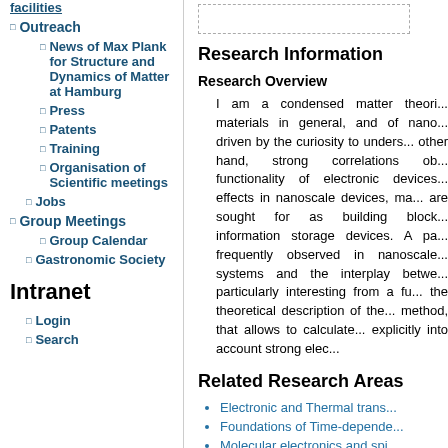facilities
Outreach
News of Max Plank for Structure and Dynamics of Matter at Hamburg
Press
Patents
Training
Organisation of Scientific meetings
Jobs
Group Meetings
Group Calendar
Gastronomic Society
Intranet
Login
Search
Research Information
Research Overview
I am a condensed matter theori... materials in general, and of nano... driven by the curiosity to unders... other hand, strong correlations ob... functionality of electronic devices... effects in nanoscale devices, ma... are sought for as building block... information storage devices. A pa... frequently observed in nanoscale... systems and the interplay betwe... particularly interesting from a fu... the theoretical description of the... method, that allows to calculate... explicitly into account strong elec...
Related Research Areas
Electronic and Thermal trans...
Foundations of Time-depende...
Molecular electronics and spi...